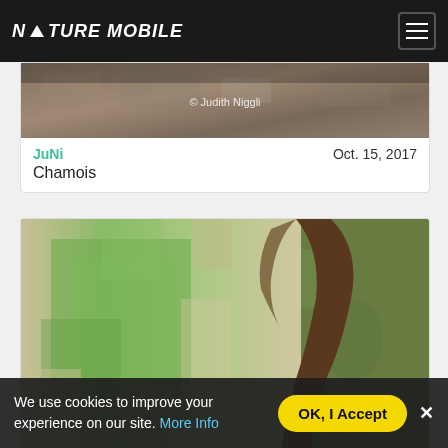NATURE MOBILE
[Figure (photo): Partial photo of a chamois with rocky terrain and moss in background, watermarked '© Judith Niggli']
JuNi    Oct. 15, 2017
Chamois
[Figure (photo): Close-up photo of a red squirrel climbing a moss-covered tree trunk, with blurred green background]
We use cookies to improve your experience on our site. More Info